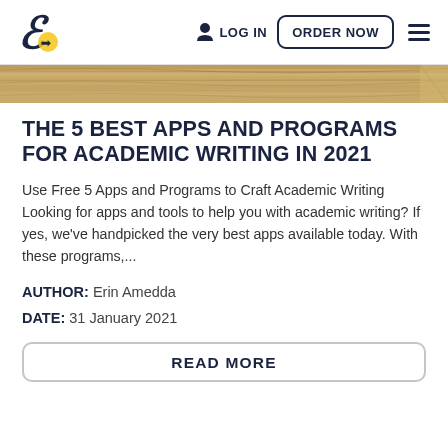LOG IN  ORDER NOW
[Figure (illustration): Wooden table surface banner image]
THE 5 BEST APPS AND PROGRAMS FOR ACADEMIC WRITING IN 2021
Use Free 5 Apps and Programs to Craft Academic Writing Looking for apps and tools to help you with academic writing? If yes, we've handpicked the very best apps available today. With these programs,...
AUTHOR: Erin Amedda
DATE: 31 January 2021
READ MORE